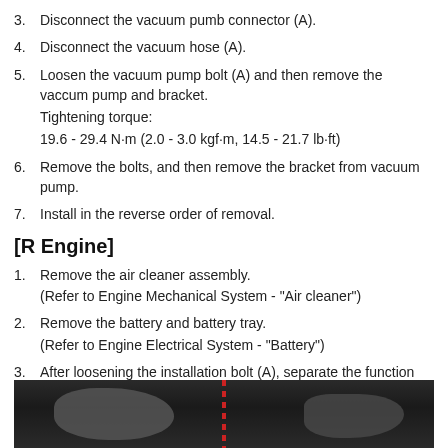3. Disconnect the vacuum pumb connector (A).
4. Disconnect the vacuum hose (A).
5. Loosen the vacuum pump bolt (A) and then remove the vaccum pump and bracket.
Tightening torque:
19.6 - 29.4 N·m (2.0 - 3.0 kgf·m, 14.5 - 21.7 lb·ft)
6. Remove the bolts, and then remove the bracket from vacuum pump.
7. Install in the reverse order of removal.
[R Engine]
1. Remove the air cleaner assembly.
(Refer to Engine Mechanical System - "Air cleaner")
2. Remove the battery and battery tray.
(Refer to Engine Electrical System - "Battery")
3. After loosening the installation bolt (A), separate the function block bracket and fuel line (B).
4. After separating the booster hose (A), remove the vacuum hose (B).
[Figure (photo): Black and white photograph showing engine components with a red dashed line indicating a hose or connector location]